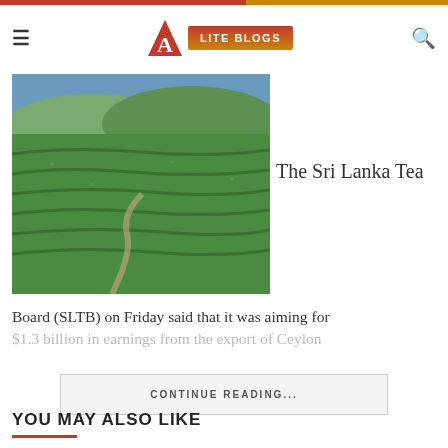LITE BLOGS
[Figure (photo): Green tea plantation terraces in Sri Lanka with lush rolling hills]
The Sri Lanka Tea
Board (SLTB) on Friday said that it was aiming for $1.3 billion in earnings from the export of Ceylon
CONTINUE READING...
YOU MAY ALSO LIKE